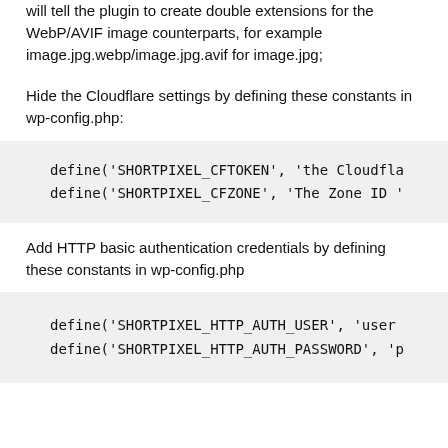will tell the plugin to create double extensions for the WebP/AVIF image counterparts, for example image.jpg.webp/image.jpg.avif for image.jpg;
Hide the Cloudflare settings by defining these constants in wp-config.php:
define('SHORTPIXEL_CFTOKEN', 'the Cloudfla
define('SHORTPIXEL_CFZONE', 'The Zone ID '
Add HTTP basic authentication credentials by defining these constants in wp-config.php
define('SHORTPIXEL_HTTP_AUTH_USER', 'user
define('SHORTPIXEL_HTTP_AUTH_PASSWORD', 'p